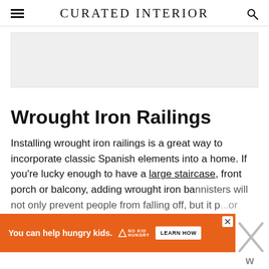CURATED INTERIOR
[Figure (other): Gray placeholder image area]
Wrought Iron Railings
Installing wrought iron railings is a great way to incorporate classic Spanish elements into a home. If you're lucky enough to have a large staircase, front porch or balcony, adding wrought iron ba[nnisters will not only prevent people from falling off, but it p...]or your...
[Figure (other): Orange advertisement banner: 'You can help hungry kids.' No Kid Hungry logo and LEARN HOW button]